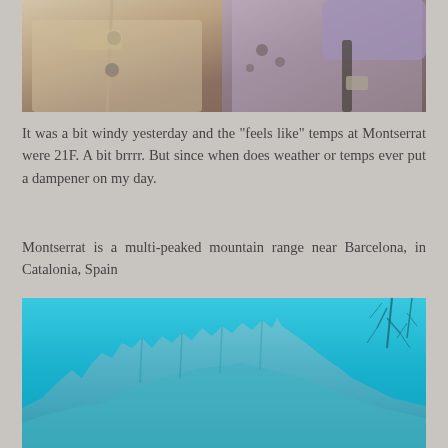[Figure (photo): Close-up photo of two people wearing beige/tan coats. One person is on the left in a light trench coat, another on the right with purple/lavender hair wearing a tan coat with a leopard print scarf.]
It was a bit windy yesterday and the "feels like" temps at Montserrat were 21F. A bit brrrr. But since when does weather or temps ever put a dampener on my day.
Montserrat is a multi-peaked mountain range near Barcelona, in Catalonia, Spain
[Figure (photo): Photo of Montserrat mountain range against a bright blue sky, showing the distinctive jagged rocky peaks of the multi-peaked mountain range in Catalonia, Spain. Bare tree branches visible on the right edge.]